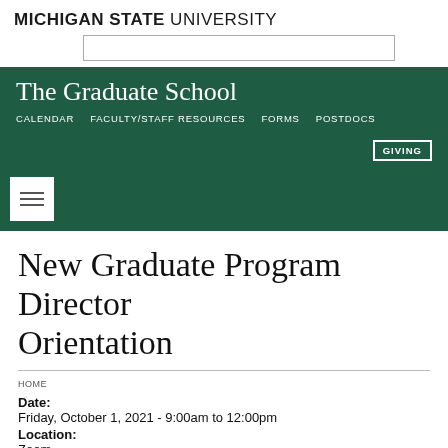MICHIGAN STATE UNIVERSITY
The Graduate School
CALENDAR  FACULTY/STAFF RESOURCES  FORMS  POSTDOCS  GIVING
New Graduate Program Director Orientation
HOME
Date:
Friday, October 1, 2021 - 9:00am to 12:00pm
Location:
Zoom
Audience: